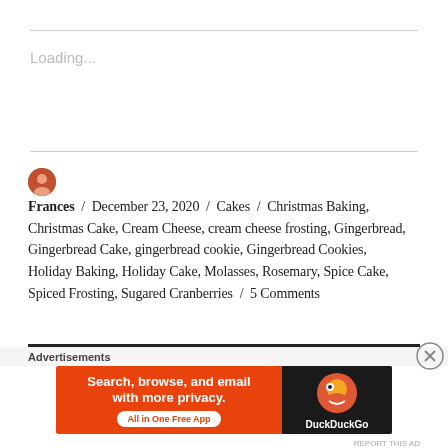Loading...
Frances / December 23, 2020 / Cakes / Christmas Baking, Christmas Cake, Cream Cheese, cream cheese frosting, Gingerbread, Gingerbread Cake, gingerbread cookie, Gingerbread Cookies, Holiday Baking, Holiday Cake, Molasses, Rosemary, Spice Cake, Spiced Frosting, Sugared Cranberries / 5 Comments
Advertisements
[Figure (other): DuckDuckGo advertisement banner: orange background with text 'Search, browse, and email with more privacy. All in One Free App' and DuckDuckGo duck logo on dark background]